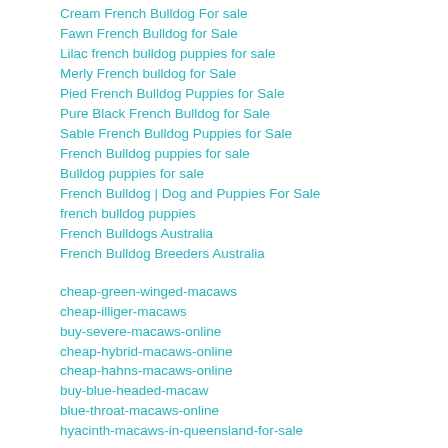Cream French Bulldog For sale
Fawn French Bulldog for Sale
Lilac french bulldog puppies for sale
Merly French bulldog for Sale
Pied French Bulldog Puppies for Sale
Pure Black French Bulldog for Sale
Sable French Bulldog Puppies for Sale
French Bulldog puppies for sale
Bulldog puppies for sale
French Bulldog | Dog and Puppies For Sale
french bulldog puppies
French Bulldogs Australia
French Bulldog Breeders Australia
cheap-green-winged-macaws
cheap-illiger-macaws
buy-severe-macaws-online
cheap-hybrid-macaws-online
cheap-hahns-macaws-online
buy-blue-headed-macaw
blue-throat-macaws-online
hyacinth-macaws-in-queensland-for-sale